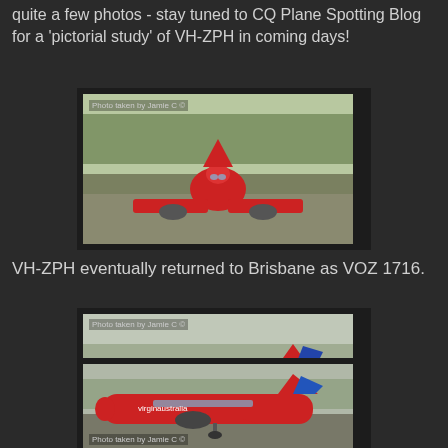quite a few photos - stay tuned to CQ Plane Spotting Blog for a 'pictorial study' of VH-ZPH in coming days!
[Figure (photo): Front-facing view of a red Virgin Australia aircraft on runway, photo credit: Photo taken by Jamie C]
VH-ZPH eventually returned to Brisbane as VOZ 1716.
[Figure (photo): Side view of red Virgin Australia aircraft on tarmac, photo credit: Photo taken by Jamie C]
[Figure (photo): Side view of red Virgin Australia aircraft landing or taxiing, photo credit: Photo taken by Jamie C]